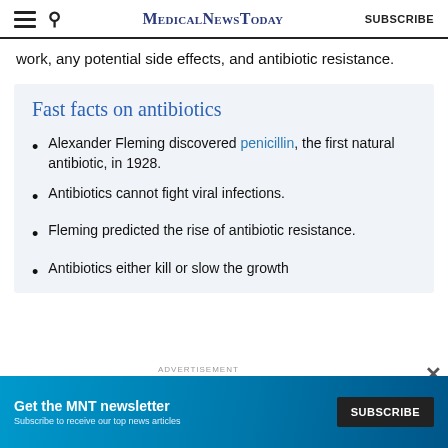MedicalNewsToday  SUBSCRIBE
work, any potential side effects, and antibiotic resistance.
Fast facts on antibiotics
Alexander Fleming discovered penicillin, the first natural antibiotic, in 1928.
Antibiotics cannot fight viral infections.
Fleming predicted the rise of antibiotic resistance.
Antibiotics either kill or slow the growth
ADVERTISEMENT  Get the MNT newsletter  Subscribe to receive our top news articles  SUBSCRIBE